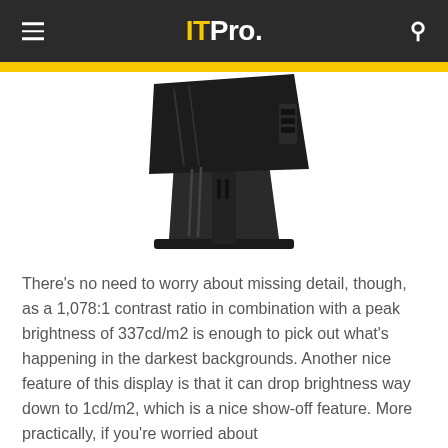ITPro.
[Figure (photo): Black computer monitor shown from the side/back angle, displaying its adjustable stand and back panel ports, tilted slightly.]
There’s no need to worry about missing detail, though, as a 1,078:1 contrast ratio in combination with a peak brightness of 337cd/m2 is enough to pick out what’s happening in the darkest backgrounds. Another nice feature of this display is that it can drop brightness way down to 1cd/m2, which is a nice show-off feature. More practically, if you’re worried about